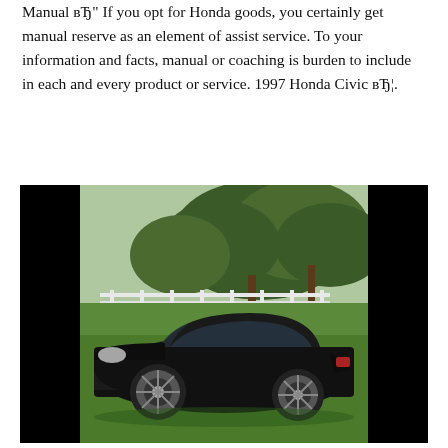Manual вЂ" If you opt for Honda goods, you certainly get manual reserve as an element of assist service. To your information and facts, manual or coaching is burden to include in each and every product or service. 1997 Honda Civic вЂ¦.
[Figure (photo): A black Honda Civic coupe (circa 1997) parked on a grass field with trees and a white fence visible in the background. The car is photographed from a front three-quarter angle. The image has black bars on the left and right sides.]